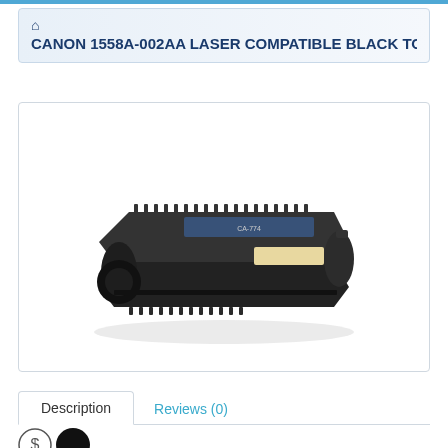CANON 1558A-002AA LASER COMPATIBLE BLACK TON
[Figure (photo): Black Canon 1558A-002AA laser compatible toner cartridge shown at an angle on white background]
Description | Reviews (0)
[Figure (logo): Small circular logo with dollar sign symbol and a solid black circle icon]